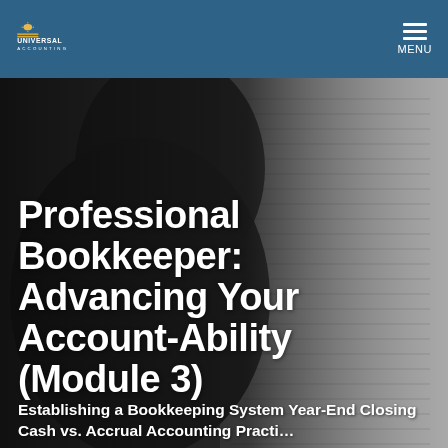UNIVERSAL ACCOUNTING | MENU
[Figure (photo): Dark background photo of a person's silhouette with blurred bookkeeping/accounting documents visible on the right side.]
Professional Bookkeeper: Advancing Your Account-Ability (Module 3)
Establishing a Bookkeeping System Year-End Closing Cash vs. Accrual Accounting Practice…